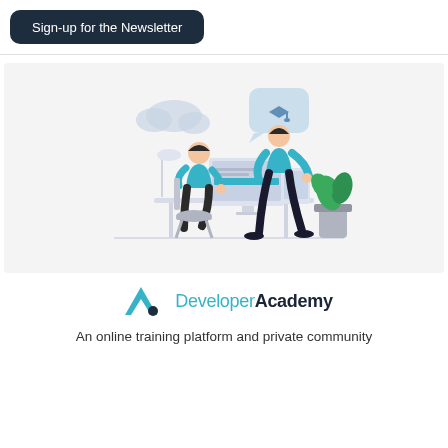Sign-up for the Newsletter
[Figure (illustration): Two people in a tech/learning environment: one sitting at a computer desk, one standing holding a tablet. Cloud and speech bubble with graduation cap icon above. A plant in the background. Flat vector illustration style.]
[Figure (logo): Developer Academy logo: teal/cyan letter A chevron with a dot, followed by 'Developer' in light teal and 'Academy' in dark navy bold text.]
An online training platform and private community